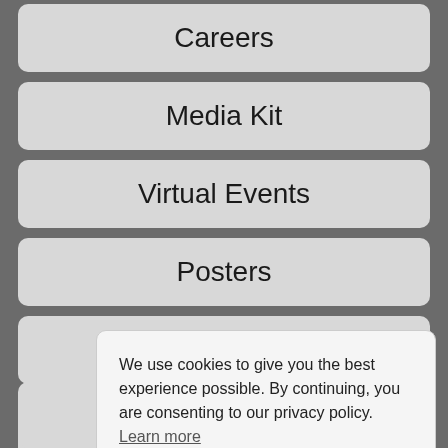Careers
Media Kit
Virtual Events
Posters
Blog
Press Room
We use cookies to give you the best experience possible. By continuing, you are consenting to our privacy policy. Learn more
Got it!
Scholarships